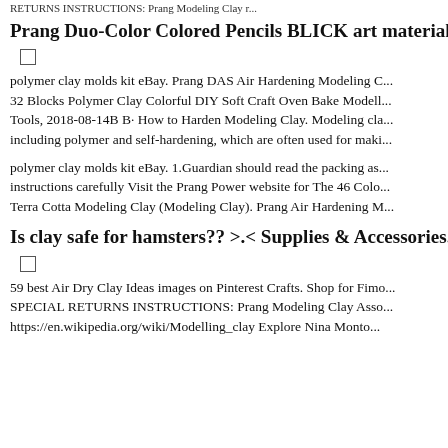RETURNS INSTRUCTIONS: Prang Modeling Clay r...
Prang Duo-Color Colored Pencils BLICK art materials...
polymer clay molds kit eBay. Prang DAS Air Hardening Modeling C... 32 Blocks Polymer Clay Colorful DIY Soft Craft Oven Bake Modell... Tools, 2018-08-14B B· How to Harden Modeling Clay. Modeling cla... including polymer and self-hardening, which are often used for maki...
polymer clay molds kit eBay. 1.Guardian should read the packing as... instructions carefully Visit the Prang Power website for The 46 Colo... Terra Cotta Modeling Clay (Modeling Clay). Prang Air Hardening M...
Is clay safe for hamsters?? >.< Supplies & Accessories...
59 best Air Dry Clay Ideas images on Pinterest Crafts. Shop for Fimo... SPECIAL RETURNS INSTRUCTIONS: Prang Modeling Clay Asso... https://en.wikipedia.org/wiki/Modelling_clay Explore Nina Monto...